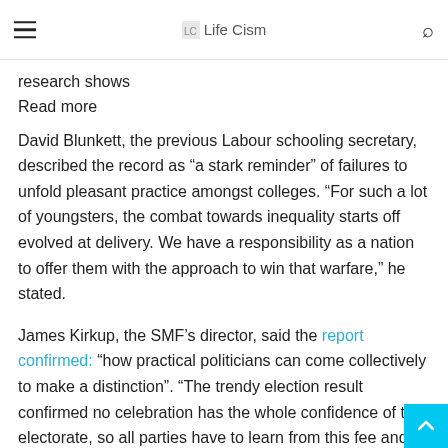Life Cism
research shows
Read more
David Blunkett, the previous Labour schooling secretary, described the record as “a stark reminder” of failures to unfold pleasant practice amongst colleges. “For such a lot of youngsters, the combat towards inequality starts off evolved at delivery. We have a responsibility as a nation to offer them with the approach to win that warfare,” he stated.
James Kirkup, the SMF’s director, said the report confirmed: “how practical politicians can come collectively to make a distinction”. “The trendy election result confirmed no celebration has the whole confidence of the electorate, so all parties have to learn from this fee and find methods to work collectively within the national hobby,” he stated.